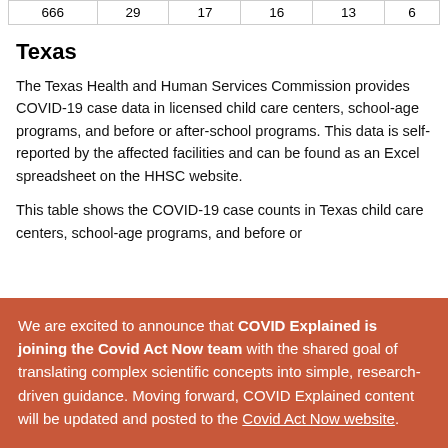| 666 | 29 | 17 | 16 | 13 | 6 |
| --- | --- | --- | --- | --- | --- |
Texas
The Texas Health and Human Services Commission provides COVID-19 case data in licensed child care centers, school-age programs, and before or after-school programs. This data is self-reported by the affected facilities and can be found as an Excel spreadsheet on the HHSC website.
This table shows the COVID-19 case counts in Texas child care centers, school-age programs, and before or
We are excited to announce that COVID Explained is joining the Covid Act Now team with the shared goal of translating complex scientific concepts into simple, research-driven guidance. Moving forward, COVID Explained content will be updated and posted to the Covid Act Now website.